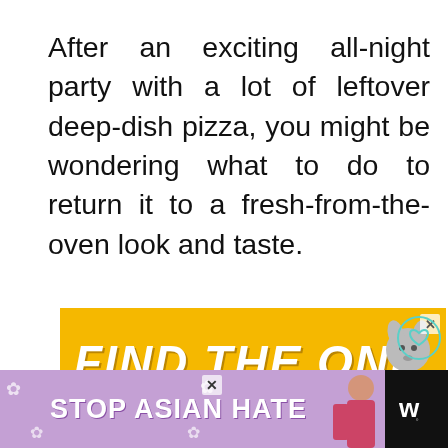After an exciting all-night party with a lot of leftover deep-dish pizza, you might be wondering what to do to return it to a fresh-from-the-oven look and taste.
[Figure (other): Yellow advertisement banner reading FIND THE ONE with dog image and close button]
[Figure (other): Purple/lavender bottom advertisement banner reading STOP ASIAN HATE with floral decorations and person image]
[Figure (other): UI panel with heart icon, share count of 2, and teal share button]
[Figure (other): What's Next card showing 35 BEST Canned... with food thumbnail]
[Figure (other): Black bottom bar with app icon showing stylized W]